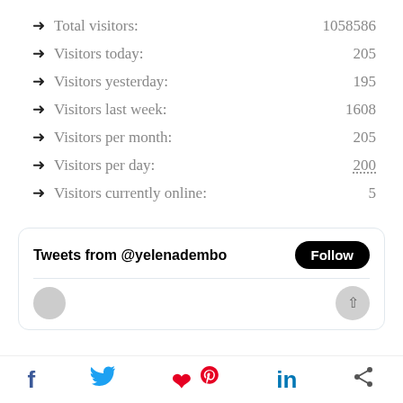Total visitors: 1058586
Visitors today: 205
Visitors yesterday: 195
Visitors last week: 1608
Visitors per month: 205
Visitors per day: 200
Visitors currently online: 5
[Figure (screenshot): Twitter/X embedded widget showing 'Tweets from @yelenadembo' with a Follow button, divider, and avatar row with scroll button]
[Figure (infographic): Social sharing bar with Facebook, Twitter, Pinterest, LinkedIn, and share icons]